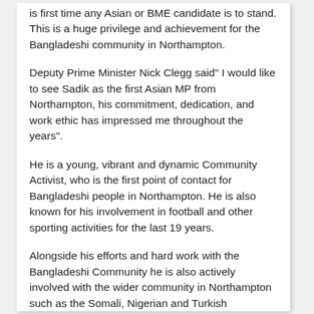is first time any Asian or BME candidate is to stand. This is a huge privilege and achievement for the Bangladeshi community in Northampton.
Deputy Prime Minister Nick Clegg said" I would like to see Sadik as the first Asian MP from Northampton, his commitment, dedication, and work ethic has impressed me throughout the years".
He is a young, vibrant and dynamic Community Activist, who is the first point of contact for Bangladeshi people in Northampton. He is also known for his involvement in football and other sporting activities for the last 19 years.
Alongside his efforts and hard work with the Bangladeshi Community he is also actively involved with the wider community in Northampton such as the Somali, Nigerian and Turkish communities and many more; helping to build social and racial harmony amongst various communities, based on understanding and respect for each other. He is also a Trustee of Corby Central Masjid in Northamptonshire.